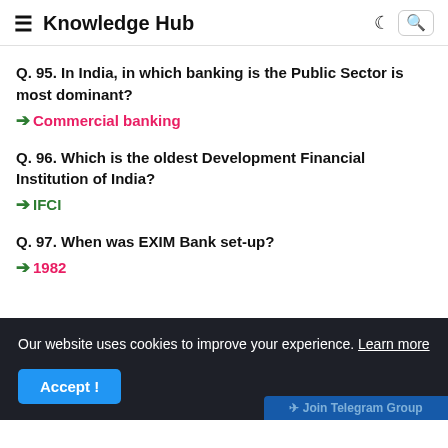≡ Knowledge Hub
Q. 95. In India, in which banking is the Public Sector is most dominant?
→ Commercial banking
Q. 96. Which is the oldest Development Financial Institution of India?
→ IFCI
Q. 97. When was EXIM Bank set-up?
→ 1982
Our website uses cookies to improve your experience. Learn more
Accept!